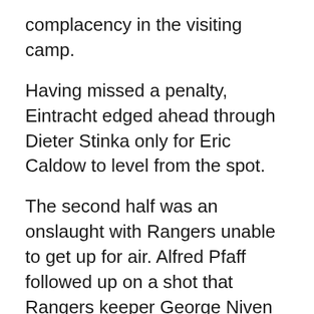complacency in the visiting camp.
Having missed a penalty, Eintracht edged ahead through Dieter Stinka only for Eric Caldow to level from the spot.
The second half was an onslaught with Rangers unable to get up for air. Alfred Pfaff followed up on a shot that Rangers keeper George Niven blocked with his legs and put the Germans back in front. Four minutes later, the same player curled home a 25-yard free-kick.
Any hope Symon’s side had of retrieving the